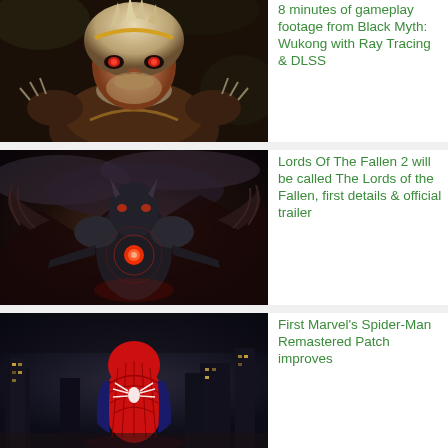[Figure (photo): Wukong character from Black Myth: Wukong game — monkey king warrior with spiky hair and ornate armor, dramatic close-up]
8 minutes of gameplay footage from Black Myth: Wukong with Ray Tracing & DLSS
[Figure (photo): Lords of the Fallen game character — dark armored boss enemy with glowing red chest and wing-like silhouette, dramatic dark atmosphere]
Lords Of The Fallen 2 will be called The Lords of the Fallen, first details & official trailer
[Figure (photo): Marvel's Spider-Man game screenshot — Spider-Man in red suit seen from behind against dark city background]
First Marvel's Spider-Man Remastered Patch improves